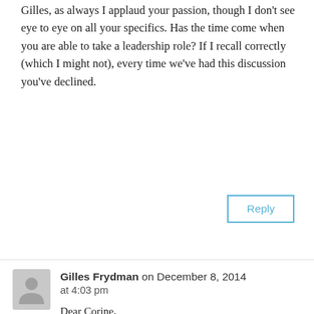Gilles, as always I applaud your passion, though I don't see eye to eye on all your specifics. Has the time come when you are able to take a leadership role? If I recall correctly (which I might not), every time we've had this discussion you've declined.
Reply
Gilles Frydman on December 8, 2014 at 4:03 pm
Dear Corine, you said “It is all about the connection between the physician and the patient.” That’s not what Hugo is saying. Have a look at his image representing the reality of the life of a patient.